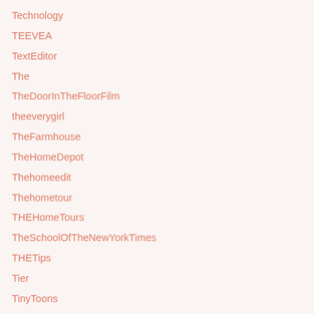Technology
TEEVEA
TextEditor
The
TheDoorInTheFloorFilm
theeverygirl
TheFarmhouse
TheHomeDepot
Thehomeedit
Thehometour
THEHomeTours
TheSchoolOfTheNewYorkTimes
THETips
Tier
TinyToons